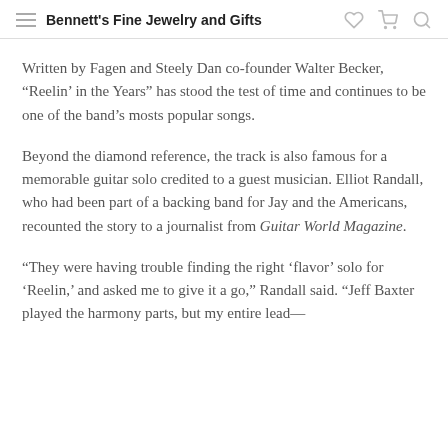Bennett's Fine Jewelry and Gifts
Written by Fagen and Steely Dan co-founder Walter Becker, “Reelin’ in the Years” has stood the test of time and continues to be one of the band’s mosts popular songs.
Beyond the diamond reference, the track is also famous for a memorable guitar solo credited to a guest musician. Elliot Randall, who had been part of a backing band for Jay and the Americans, recounted the story to a journalist from Guitar World Magazine.
“They were having trouble finding the right ‘flavor’ solo for ‘Reelin,’ and asked me to give it a go,” Randall said. “Jeff Baxter played the harmony parts, but my entire lead—